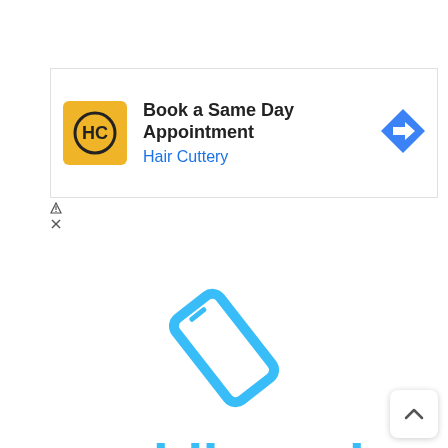[Figure (screenshot): Advertisement banner for Hair Cuttery: yellow square logo with HC monogram, headline 'Book a Same Day Appointment', subtext 'Hair Cuttery' in blue, blue diamond navigation arrow on right. Ad attribution triangle and X icons below left corner.]
[Figure (logo): MobileWorks logo: a tilted smartphone outline in sky blue color above the lowercase text 'mobileworks' in sky blue.]